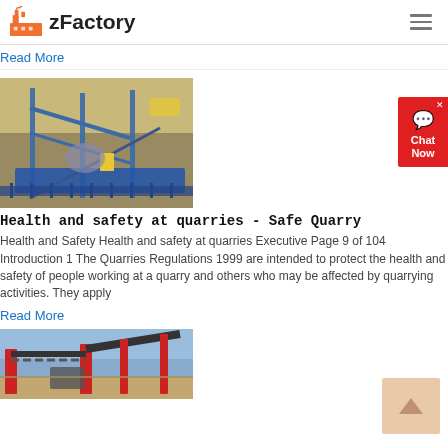zFactory
Read More
[Figure (photo): Aerial view of quarry crushing and screening equipment with blue metal framework, conveyor belts, and machinery at a quarry site with yellow vehicles visible in background]
Health and safety at quarries - Safe Quarry
Health and Safety Health and safety at quarries Executive Page 9 of 104 Introduction 1 The Quarries Regulations 1999 are intended to protect the health and safety of people working at a quarry and others who may be affected by quarrying activities. They apply
Read More
[Figure (photo): Industrial conveyor belt equipment and screening machinery at a quarry or mining site with red metal structures under blue sky]